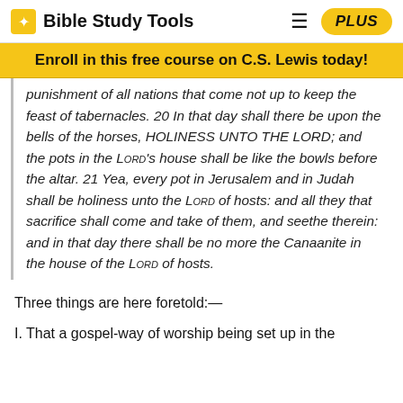Bible Study Tools
Enroll in this free course on C.S. Lewis today!
punishment of all nations that come not up to keep the feast of tabernacles. 20 In that day shall there be upon the bells of the horses, HOLINESS UNTO THE LORD; and the pots in the LORD's house shall be like the bowls before the altar. 21 Yea, every pot in Jerusalem and in Judah shall be holiness unto the LORD of hosts: and all they that sacrifice shall come and take of them, and seethe therein: and in that day there shall be no more the Canaanite in the house of the LORD of hosts.
Three things are here foretold:—
I. That a gospel-way of worship being set up in the